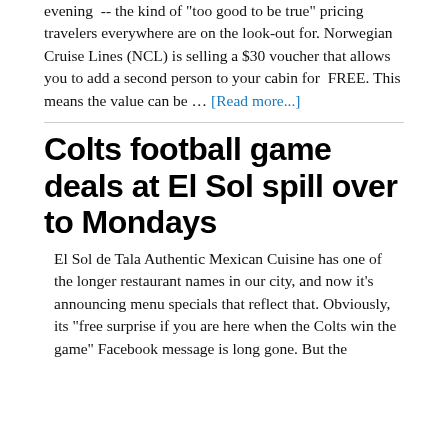evening -- the kind of "too good to be true" pricing travelers everywhere are on the look-out for. Norwegian Cruise Lines (NCL) is selling a $30 voucher that allows you to add a second person to your cabin for FREE. This means the value can be … [Read more...]
Colts football game deals at El Sol spill over to Mondays
El Sol de Tala Authentic Mexican Cuisine has one of the longer restaurant names in our city, and now it's announcing menu specials that reflect that. Obviously, its "free surprise if you are here when the Colts win the game" Facebook message is long gone. But the